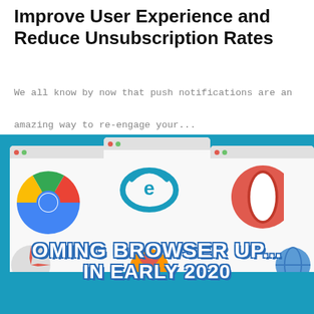Improve User Experience and Reduce Unsubscription Rates
We all know by now that push notifications are an amazing way to re-engage your...
[Figure (illustration): Browser illustration showing Chrome, Internet Explorer, Opera, Firefox, Safari browser logos inside browser window mockups on a teal/blue background, with overlay text 'OMING BROWSER UP... IN EARLY 2020']